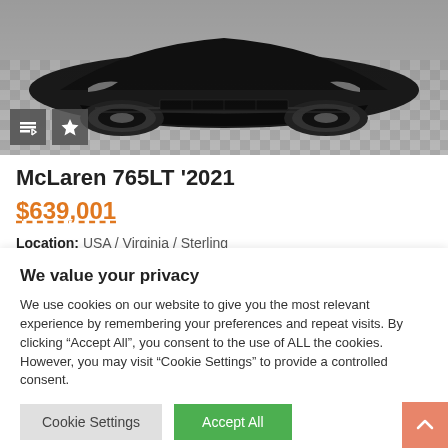[Figure (photo): Front low-angle view of a black McLaren 765LT sports car in a garage with checkered floor]
McLaren 765LT '2021
$639,001
Location: USA / Virginia / Sterling
Mileage: 3700 miles
Condition: used
We value your privacy
We use cookies on our website to give you the most relevant experience by remembering your preferences and repeat visits. By clicking “Accept All”, you consent to the use of ALL the cookies. However, you may visit “Cookie Settings” to provide a controlled consent.
Cookie Settings
Accept All